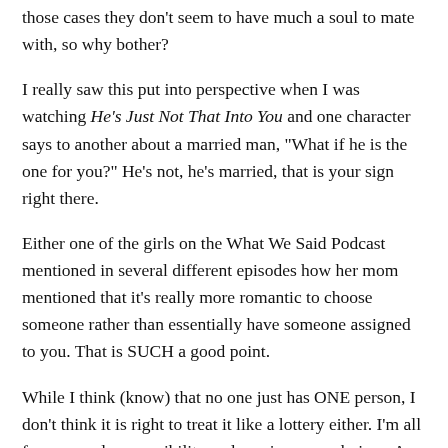those cases they don't seem to have much a soul to mate with, so why bother?
I really saw this put into perspective when I was watching He's Just Not That Into You and one character says to another about a married man, "What if he is the one for you?" He's not, he's married, that is your sign right there.
Either one of the girls on the What We Said Podcast mentioned in several different episodes how her mom mentioned that it's really more romantic to choose someone rather than essentially have someone assigned to you. That is SUCH a good point.
While I think (know) that no one just has ONE person, I don't think it is right to treat it like a lottery either. I'm all for personal responsibility and owning your choices. As one of The Minimalists on their podcast pointed out, the world probably has a selection of people you are compatible with. And you probably won't meet every single one of